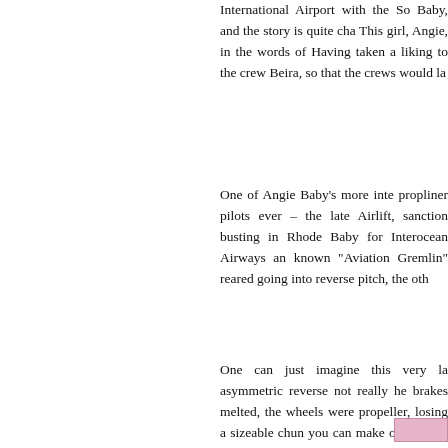International Airport with the So Baby, and the story is quite cha This girl, Angie, in the words of Having taken a liking to the crew Beira, so that the crews would la
One of Angie Baby's more inte propliner pilots ever – the late Airlift, sanction busting in Rhode Baby for Interocean Airways an known "Aviation Gremlin" reare going into reverse pitch, the oth
One can just imagine this very la asymmetric reverse not really he brakes melted, the wheels were propeller, losing a sizeable chun you can make out though she live
And so she did. Interocean had for) and so retired them in the fa she was registered by Avia Air ( short tenure as ZS-MUL was al piston propliners go and very sel